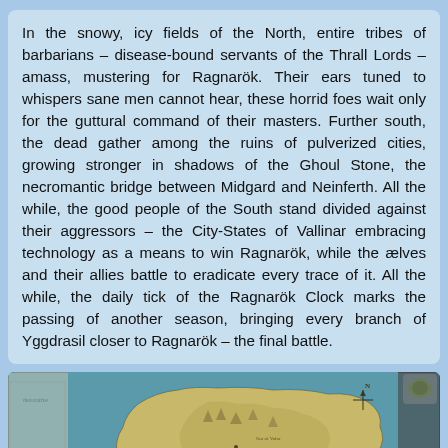In the snowy, icy fields of the North, entire tribes of barbarians – disease-bound servants of the Thrall Lords – amass, mustering for Ragnarök. Their ears tuned to whispers sane men cannot hear, these horrid foes wait only for the guttural command of their masters. Further south, the dead gather among the ruins of pulverized cities, growing stronger in shadows of the Ghoul Stone, the necromantic bridge between Midgard and Neinferth. All the while, the good people of the South stand divided against their aggressors – the City-States of Vallinar embracing technology as a means to win Ragnarök, while the ælves and their allies battle to eradicate every trace of it. All the while, the daily tick of the Ragnarök Clock marks the passing of another season, bringing every branch of Yggdrasil closer to Ragnarök – the final battle.
[Figure (map): Fantasy world map showing a landmass with detailed geographic features, rivers, mountains, and settlements. The map has a teal/green ocean background with a yellow-green landmass. There is a compass rose in the upper right corner. A red circular chat bubble icon overlays the lower right of the image.]